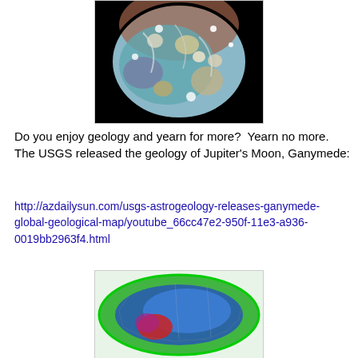[Figure (photo): Colorful geological map of Ganymede, Jupiter's moon, shown as a sphere against black background with various colored regions indicating different geological formations]
Do you enjoy geology and yearn for more?  Yearn no more. The USGS released the geology of Jupiter's Moon, Ganymede:
http://azdailysun.com/usgs-astrogeology-releases-ganymede-global-geological-map/youtube_66cc47e2-950f-11e3-a936-0019bb2963f4.html
[Figure (map): Weather or oceanographic map showing North America with colorful overlays (green, blue, red) indicating some kind of meteorological or geological data]